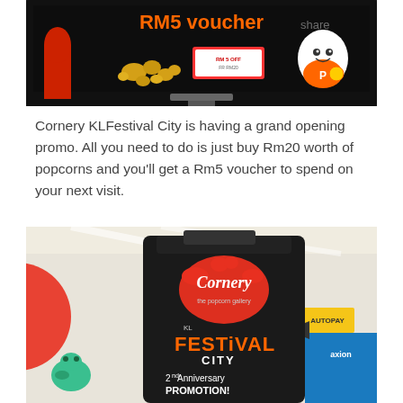[Figure (photo): Photo of a TV screen displaying Cornery RM5 voucher promotion with popcorn and mascot character in orange shirt]
Cornery KLFestival City is having a grand opening promo. All you need to do is just buy Rm20 worth of popcorns and you'll get a Rm5 voucher to spend on your next visit.
[Figure (photo): Photo of a Cornery popcorn gallery black bag/banner at KL Festival City showing '2nd Anniversary PROMOTION!' text]